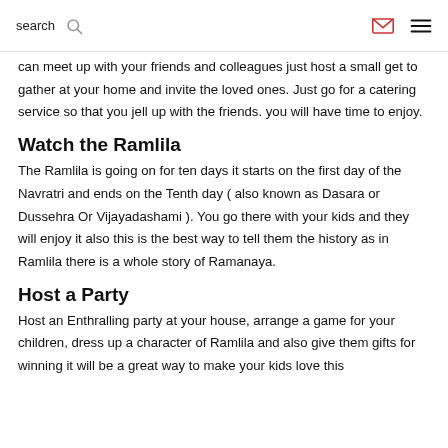search [search icon] [email icon] [menu icon]
can meet up with your friends and colleagues just host a small get to gather at your home and invite the loved ones. Just go for a catering service so that you jell up with the friends. you will have time to enjoy.
Watch the Ramlila
The Ramlila is going on for ten days it starts on the first day of the Navratri and ends on the Tenth day ( also known as Dasara or Dussehra Or Vijayadashami ). You go there with your kids and they will enjoy it also this is the best way to tell them the history as in Ramlila there is a whole story of Ramanaya.
Host a Party
Host an Enthralling party at your house, arrange a game for your children, dress up a character of Ramlila and also give them gifts for winning it will be a great way to make your kids love this